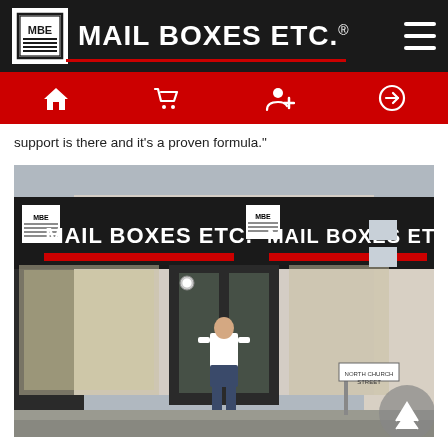[Figure (logo): Mail Boxes Etc. logo with MBE emblem in white box and brand name in white text on black header bar with hamburger menu icon]
[Figure (photo): Navigation bar with four white icons on red background: home, shopping cart, user add, and login arrow]
support is there and it’s a proven formula.”
[Figure (photo): Exterior photo of a Mail Boxes Etc. store on a corner with black signage showing the brand name twice, a man in white shirt and dark shorts standing in front of the entrance, street sign reading North Church Street]